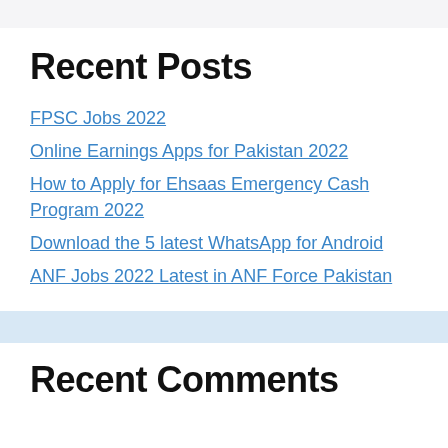Recent Posts
FPSC Jobs 2022
Online Earnings Apps for Pakistan 2022
How to Apply for Ehsaas Emergency Cash Program 2022
Download the 5 latest WhatsApp for Android
ANF Jobs 2022 Latest in ANF Force Pakistan
Recent Comments